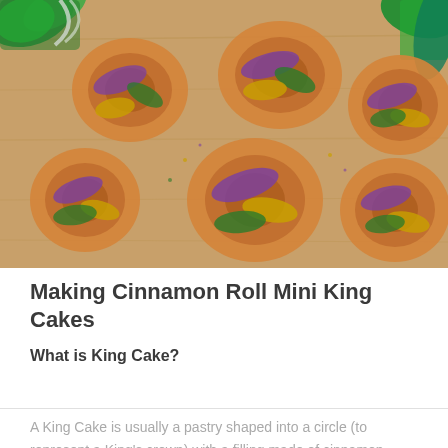[Figure (photo): Six colorful mini King Cake cinnamon rolls decorated with purple, green, and gold/yellow sugar, arranged on a wooden cutting board. Mardi Gras decorations (green sparkly items) are visible in the corners.]
Making Cinnamon Roll Mini King Cakes
What is King Cake?
A King Cake is usually a pastry shaped into a circle (to represent a King's crown) with a filling made of cinnamon